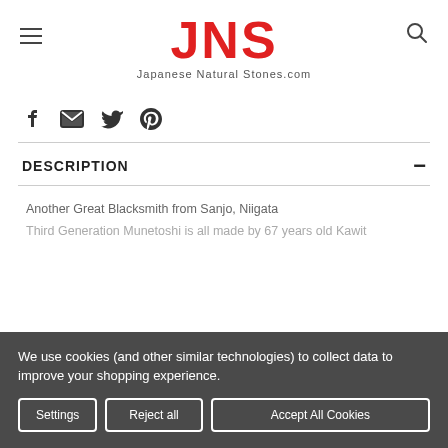JNS - Japanese Natural Stones.com
[Figure (infographic): Social sharing icons: Facebook, Email, Twitter, Pinterest]
DESCRIPTION
Another Great Blacksmith from Sanjo, Niigata
Third Generation Munetoshi is all made by 67 years old Kawit...
We use cookies (and other similar technologies) to collect data to improve your shopping experience.